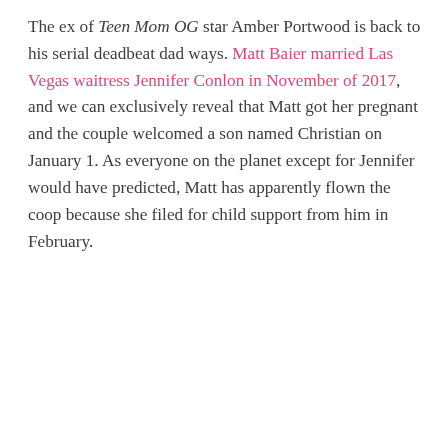The ex of Teen Mom OG star Amber Portwood is back to his serial deadbeat dad ways. Matt Baier married Las Vegas waitress Jennifer Conlon in November of 2017, and we can exclusively reveal that Matt got her pregnant and the couple welcomed a son named Christian on January 1. As everyone on the planet except for Jennifer would have predicted, Matt has apparently flown the coop because she filed for child support from him in February.
Read More...
[Figure (photo): Group photo of several women with dark and blonde hair against a pink background, with MTV logo watermark visible in upper right corner of image]